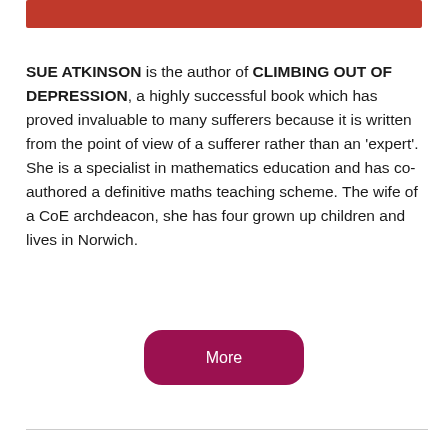[Figure (other): Red decorative bar at the top of the page]
SUE ATKINSON is the author of CLIMBING OUT OF DEPRESSION, a highly successful book which has proved invaluable to many sufferers because it is written from the point of view of a sufferer rather than an ‘expert’. She is a specialist in mathematics education and has co-authored a definitive maths teaching scheme. The wife of a CoE archdeacon, she has four grown up children and lives in Norwich.
[Figure (other): A rounded rectangular button with dark pink/magenta background labeled 'More']